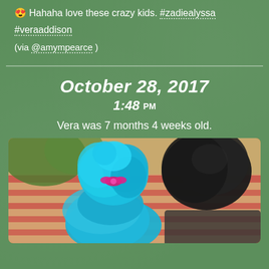😍 Hahaha love these crazy kids. #zadiealyssa #veraaddison (via @amympearce )
October 28, 2017
1:48 PM
Vera was 7 months 4 weeks old.
[Figure (photo): Two children dressed in Halloween costumes viewed from behind. One wearing a blue tulle Trolls-style costume with a bright blue poofy wig with a pink bow, the other with dark hair. Striped fabric visible in background.]